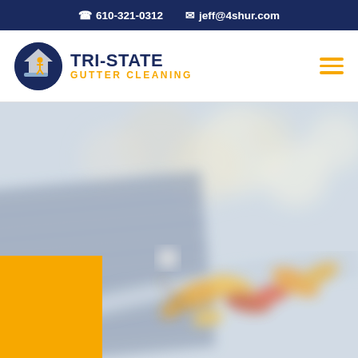610-321-0312  jeff@4shur.com
[Figure (logo): Tri-State Gutter Cleaning logo with circular icon showing house and gutter, text TRI-STATE GUTTER CLEANING]
[Figure (photo): Blurred background photo of autumn leaves in a gutter/roof area with an orange decorative block in the bottom left corner]